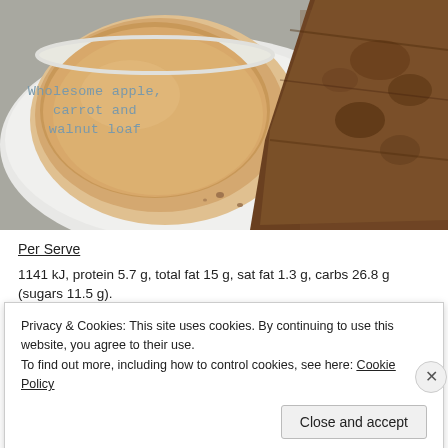[Figure (photo): Overhead photo of a cup of tea with milky brown liquid on a white saucer, with text overlay 'Wholesome apple, carrot and walnut loaf' in teal/blue monospace font, and a slice of dark brown walnut loaf bread on the right side of the plate. Gray background.]
Per Serve
1141 kJ, protein 5.7 g, total fat 15 g, sat fat 1.3 g, carbs 26.8 g (sugars 11.5 g).
Privacy & Cookies: This site uses cookies. By continuing to use this website, you agree to their use.
To find out more, including how to control cookies, see here: Cookie Policy
Close and accept